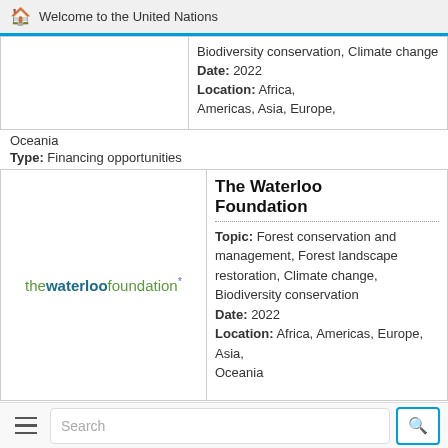Welcome to the United Nations
Biodiversity conservation, Climate change
Date: 2022
Location: Africa, Americas, Asia, Europe, Oceania
Type: Financing opportunities
[Figure (logo): The Waterloo Foundation logo: 'thewaterlookfoundation' in green and blue text with asterisk]
The Waterloo Foundation
Topic: Forest conservation and management, Forest landscape restoration, Climate change, Biodiversity conservation
Date: 2022
Location: Africa, Americas, Europe, Asia, Oceania
Search